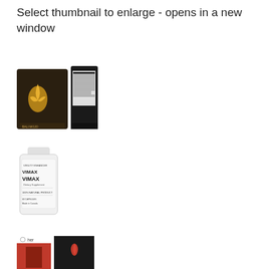Select thumbnail to enlarge - opens in a new window
[Figure (photo): Product package photos showing front and back of a dark foil pouch with a flame logo and nutrition label]
[Figure (photo): White bottle of Vimax dietary supplement, 60 capsules, Made in Canada, 100% Natural Product]
[Figure (photo): Two small product thumbnails: one showing a red-themed package labeled 'her' and another showing a dark package with a red design]